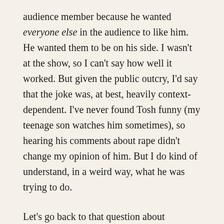audience member because he wanted everyone else in the audience to like him. He wanted them to be on his side. I wasn't at the show, so I can't say how well it worked. But given the public outcry, I'd say that the joke was, at best, heavily context-dependent. I've never found Tosh funny (my teenage son watches him sometimes), so hearing his comments about rape didn't change my opinion of him. But I do kind of understand, in a weird way, what he was trying to do.
Let's go back to that question about castration. It's an uncomfortable topic for some people, castration. Mostly for men. I know this is true because one of my hobbies is teaching people how to separate a man's testicles from the rest of his body with their bare